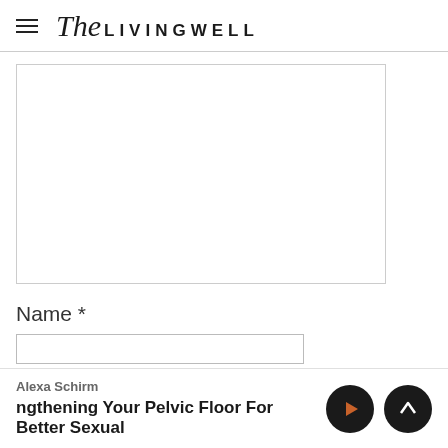The LIVINGWELL
[Figure (screenshot): Empty white textarea/comment box with border]
Name *
[Figure (screenshot): Media player bar at bottom: Alexa Schirm, ngthening Your Pelvic Floor For Better Sexual, with play and up arrow buttons]